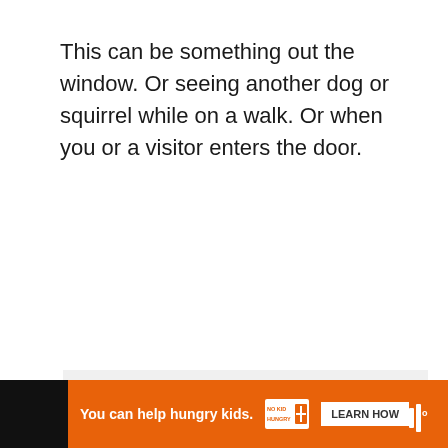This can be something out the window. Or seeing another dog or squirrel while on a walk. Or when you or a visitor enters the door.
[Figure (other): Light gray content placeholder area]
[Figure (infographic): Social interaction UI: heart like button (blue circle), like count 14, share button (white circle with share icon), What's Next arrow link with thumbnail to Guide Dog Puppy...]
[Figure (infographic): Bottom advertisement bar: black background with orange ad panel saying You can help hungry kids. No Kid Hungry logo. LEARN HOW button. Close X button. Muted icon on right.]